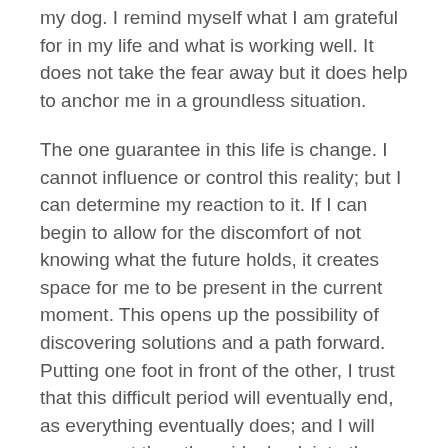my dog. I remind myself what I am grateful for in my life and what is working well. It does not take the fear away but it does help to anchor me in a groundless situation.
The one guarantee in this life is change. I cannot influence or control this reality; but I can determine my reaction to it. If I can begin to allow for the discomfort of not knowing what the future holds, it creates space for me to be present in the current moment. This opens up the possibility of discovering solutions and a path forward. Putting one foot in front of the other, I trust that this difficult period will eventually end, as everything eventually does; and I will emerge out the other side, back into the light.
If you enjoyed this post, please consider signing up